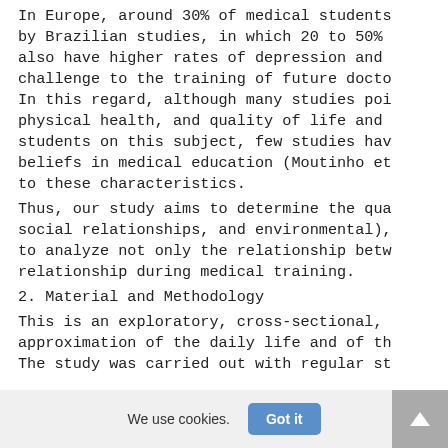In Europe, around 30% of medical students by Brazilian studies, in which 20 to 50% also have higher rates of depression and challenge to the training of future docto In this regard, although many studies poi physical health, and quality of life and students on this subject, few studies hav beliefs in medical education (Moutinho et to these characteristics.
Thus, our study aims to determine the qua social relationships, and environmental), to analyze not only the relationship betw relationship during medical training.
2. Material and Methodology
This is an exploratory, cross-sectional, approximation of the daily life and of th The study was carried out with regular st